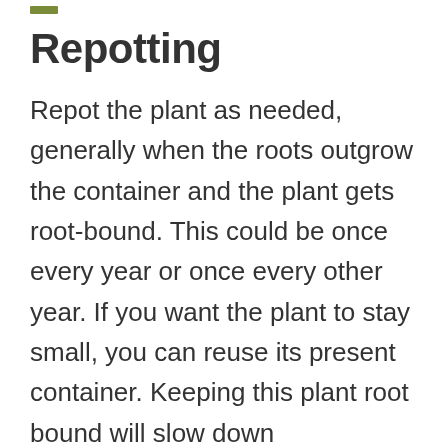Repotting
Repot the plant as needed, generally when the roots outgrow the container and the plant gets root-bound. This could be once every year or once every other year. If you want the plant to stay small, you can reuse its present container. Keeping this plant root bound will slow down